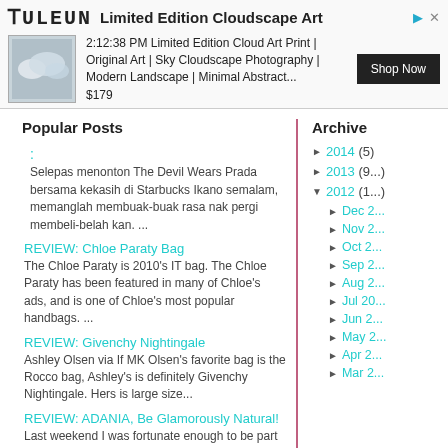[Figure (other): Advertisement banner for PULEUN Limited Edition Cloudscape Art. Shows logo, title, thumbnail of cloud art print, description text, price $179, and Shop Now button.]
Popular Posts
Selepas menonton The Devil Wears Prada bersama kekasih di Starbucks Ikano semalam, memanglah membuak-buak rasa nak pergi membeli-belah kan. ...
REVIEW: Chloe Paraty Bag
The Chloe Paraty is 2010's IT bag. The Chloe Paraty has been featured in many of Chloe's ads, and is one of Chloe's most popular handbags. ...
REVIEW: Givenchy Nightingale
Ashley Olsen via If MK Olsen's favorite bag is the Rocco bag, Ashley's is definitely Givenchy Nightingale. Hers is large size...
REVIEW: ADANIA, Be Glamorously Natural!
Last weekend I was fortunate enough to be part of Amaryllis Spa & Wellness launch of their brand
Archive
► 2014 (5)
► 2013 (9...)
▼ 2012 (1...)
► Dec 2...
► Nov 2...
► Oct 2...
► Sep 2...
► Aug 2...
► Jul 20...
► Jun 2...
► May 2...
► Apr 2...
► Mar 2...